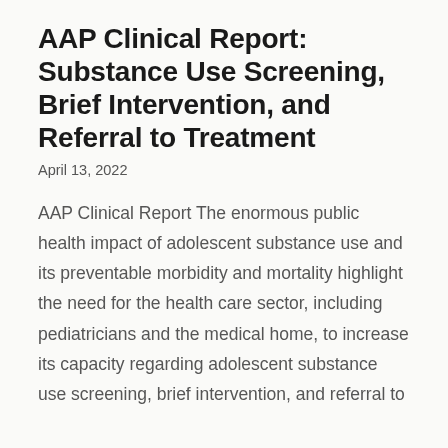AAP Clinical Report: Substance Use Screening, Brief Intervention, and Referral to Treatment
April 13, 2022
AAP Clinical Report The enormous public health impact of adolescent substance use and its preventable morbidity and mortality highlight the need for the health care sector, including pediatricians and the medical home, to increase its capacity regarding adolescent substance use screening, brief intervention, and referral to